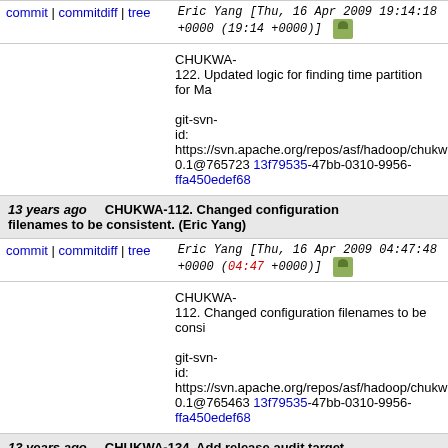commit | commitdiff | tree   Eric Yang [Thu, 16 Apr 2009 19:14:18 +0000 (19:14 +0000)]
CHUKWA-122. Updated logic for finding time partition for Ma
git-svn-id: https://svn.apache.org/repos/asf/hadoop/chukw 0.1@765723 13f79535-47bb-0310-9956-ffa450edef68
13 years ago   CHUKWA-112. Changed configuration filenames to be consistent. (Eric Yang)
commit | commitdiff | tree   Eric Yang [Thu, 16 Apr 2009 04:47:48 +0000 (04:47 +0000)]
CHUKWA-112. Changed configuration filenames to be consi
git-svn-id: https://svn.apache.org/repos/asf/hadoop/chukw 0.1@765463 13f79535-47bb-0310-9956-ffa450edef68
13 years ago   CHUKWA-134. Add release audit target. (Giridharan Kesavan via Eric Yang)
commit | commitdiff | tree   Eric Yang [Thu, 16 Apr 2009 04:44:31